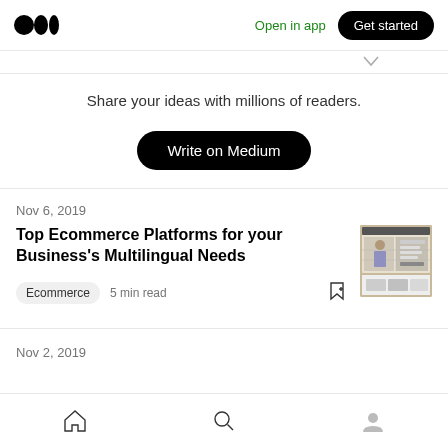Medium logo | Open in app | Get started
Share your ideas with millions of readers.
Write on Medium
Nov 6, 2019
Top Ecommerce Platforms for your Business's Multilingual Needs
Ecommerce  5 min read
[Figure (screenshot): Thumbnail image of an ecommerce website showing a clothing store interface]
Nov 2, 2019
Home | Search | Profile navigation icons